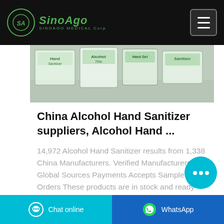SinoAgo SINOAGO MEDICAL Corp
[Figure (photo): Product photo showing alcohol hand sanitizer bottles/blister packs on a surface with green and white packaging]
China Alcohol Hand Sanitizer suppliers, Alcohol Hand ...
14,972 Alcohol Hand Sanitizer results from 1,338 China Manufacturers. Verified Manufacturers Global Sources Payments Accepts Sample Orders These products are in stock and ready
Chat online   WhatsApp